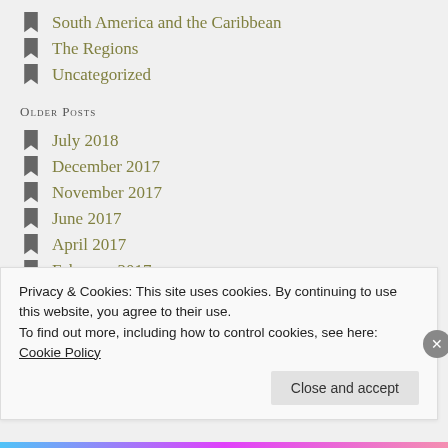South America and the Caribbean
The Regions
Uncategorized
Older Posts
July 2018
December 2017
November 2017
June 2017
April 2017
February 2017
Privacy & Cookies: This site uses cookies. By continuing to use this website, you agree to their use. To find out more, including how to control cookies, see here: Cookie Policy